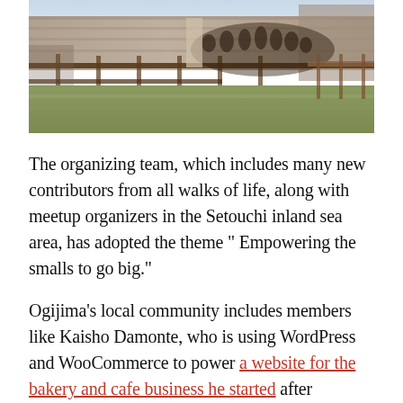[Figure (photo): Group photo of approximately 15-20 people standing in front of a stone wall structure with wooden fencing, outdoors on an island, bare ground with sparse vegetation visible.]
The organizing team, which includes many new contributors from all walks of life, along with meetup organizers in the Setouchi inland sea area, has adopted the theme “ Empowering the smalls to go big.”
Ogijima’s local community includes members like Kaisho Damonte, who is using WordPress and WooCommerce to power a website for the bakery and cafe business he started after renovating a 100-year-old barn on the island. Kentaro Yamaguchi,